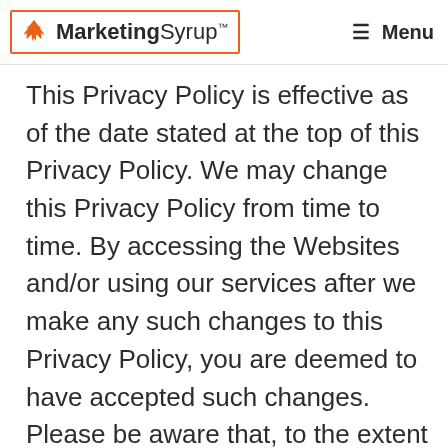MarketingSyrup™  ☰ Menu
This Privacy Policy is effective as of the date stated at the top of this Privacy Policy. We may change this Privacy Policy from time to time. By accessing the Websites and/or using our services after we make any such changes to this Privacy Policy, you are deemed to have accepted such changes. Please be aware that, to the extent permitted by applicable law, our